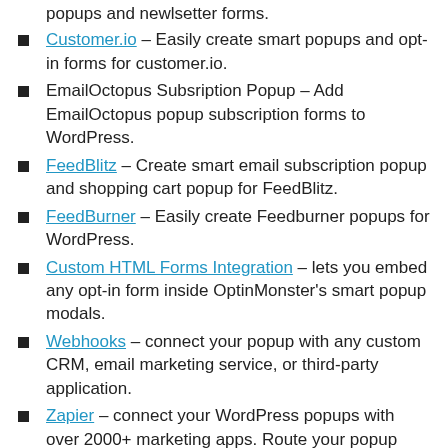popups and newlsetter forms.
Customer.io – Easily create smart popups and opt-in forms for customer.io.
EmailOctopus Subsription Popup – Add EmailOctopus popup subscription forms to WordPress.
FeedBlitz – Create smart email subscription popup and shopping cart popup for FeedBlitz.
FeedBurner – Easily create Feedburner popups for WordPress.
Custom HTML Forms Integration – lets you embed any opt-in form inside OptinMonster's smart popup modals.
Webhooks – connect your popup with any custom CRM, email marketing service, or third-party application.
Zapier – connect your WordPress popups with over 2000+ marketing apps. Route your popup form data to your favorite CRM, email marketing,